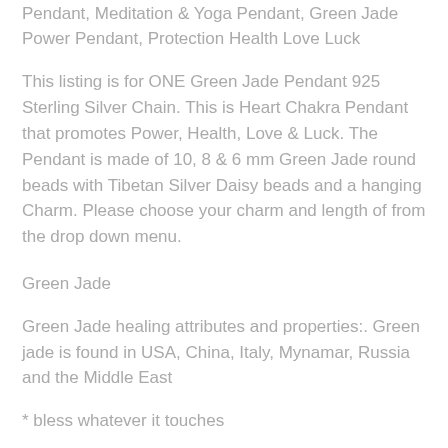Pendant, Meditation & Yoga Pendant, Green Jade Power Pendant, Protection Health Love Luck
This listing is for ONE Green Jade Pendant 925 Sterling Silver Chain. This is Heart Chakra Pendant that promotes Power, Health, Love & Luck. The Pendant is made of 10, 8 & 6 mm Green Jade round beads with Tibetan Silver Daisy beads and a hanging Charm. Please choose your charm and length of from the drop down menu.
Green Jade
Green Jade healing attributes and properties:. Green jade is found in USA, China, Italy, Mynamar, Russia and the Middle East
* bless whatever it touches
* powers of healing illness, psychic power
* protection. Green Jade is a
* crystal of love: supportive of new love, and